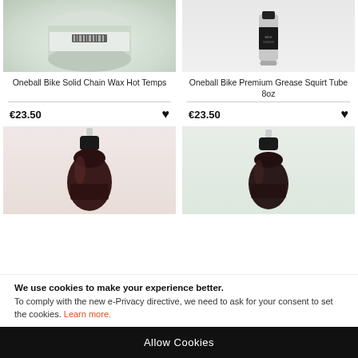[Figure (photo): Oneball Bike Solid Chain Wax Hot Temps product photo - circular tin/disc]
[Figure (photo): Oneball Bike Premium Grease Squirt Tube 8oz product photo - tube bottle]
Oneball Bike Solid Chain Wax Hot Temps
Oneball Bike Premium Grease Squirt Tube 8oz
€23.50
€23.50
[Figure (photo): Dark squeeze bottle product photo - left]
[Figure (photo): Dark squeeze bottle product photo - right]
We use cookies to make your experience better. To comply with the new e-Privacy directive, we need to ask for your consent to set the cookies. Learn more.
Allow Cookies